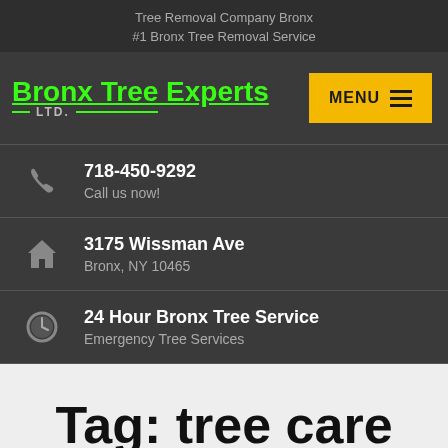Tree Removal Company Bronx
#1 Bronx Tree Removal Service
[Figure (logo): Bronx Tree Experts LTD. logo with green neon text and underline]
MENU
718-450-9292
Call us now!
3175 Wissman Ave
Bronx, NY 10465
24 Hour Bronx Tree Service
Emergency Tree Services
Tag: tree care